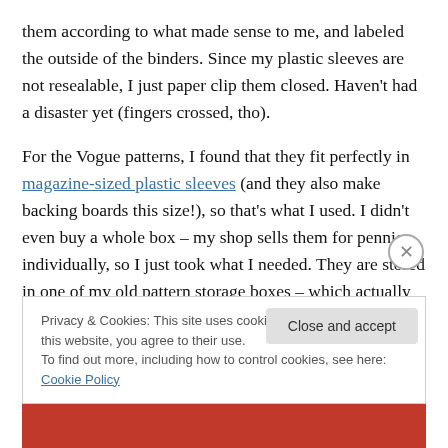them according to what made sense to me, and labeled the outside of the binders. Since my plastic sleeves are not resealable, I just paper clip them closed. Haven't had a disaster yet (fingers crossed, tho).
For the Vogue patterns, I found that they fit perfectly in magazine-sized plastic sleeves (and they also make backing boards this size!), so that's what I used. I didn't even buy a whole box – my shop sells them for pennies individually, so I just took what I needed. They are stored in one of my old pattern storage boxes – which actually
Privacy & Cookies: This site uses cookies. By continuing to use this website, you agree to their use.
To find out more, including how to control cookies, see here: Cookie Policy